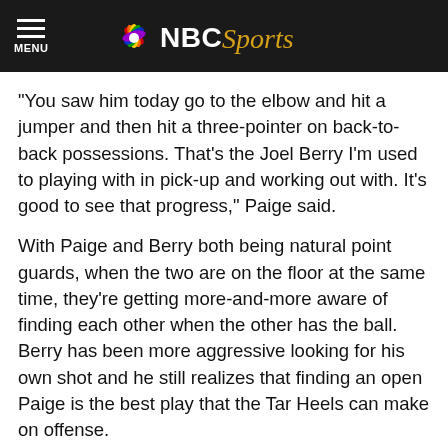NBC Sports
“You saw him today go to the elbow and hit a jumper and then hit a three-pointer on back-to-back possessions. That’s the Joel Berry I’m used to playing with in pick-up and working out with. It’s good to see that progress,” Paige said.
With Paige and Berry both being natural point guards, when the two are on the floor at the same time, they’re getting more-and-more aware of finding each other when the other has the ball. Berry has been more aggressive looking for his own shot and he still realizes that finding an open Paige is the best play that the Tar Heels can make on offense.
“We’re both point guards, whoever gets the ball, they just tell us to run. So I’m going to look to push the ball and look for the shooters on the wings. That’s how Marcus